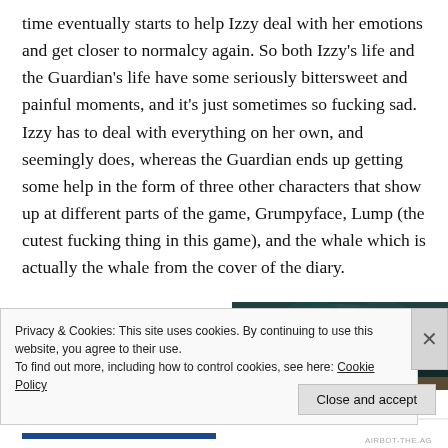time eventually starts to help Izzy deal with her emotions and get closer to normalcy again. So both Izzy's life and the Guardian's life have some seriously bittersweet and painful moments, and it's just sometimes so fucking sad. Izzy has to deal with everything on her own, and seemingly does, whereas the Guardian ends up getting some help in the form of three other characters that show up at different parts of the game, Grumpyface, Lump (the cutest fucking thing in this game), and the whale which is actually the whale from the cover of the diary.
[Figure (photo): Dark teal/green toned image, partially visible, appears to show a character or scene from a video game]
Privacy & Cookies: This site uses cookies. By continuing to use this website, you agree to their use.
To find out more, including how to control cookies, see here: Cookie Policy
Close and accept